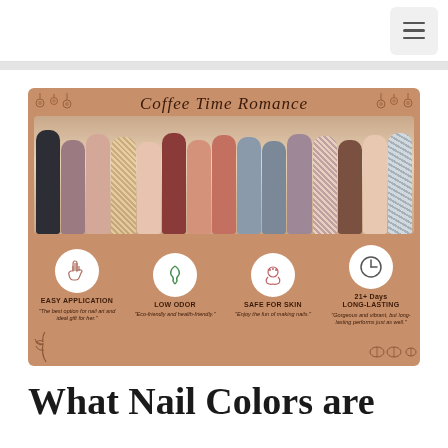[Figure (infographic): Navigation bar with hamburger menu button in top-right corner]
[Figure (infographic): Coffee Time Romance nail polish infographic showing multiple nail color swatches in brown, mauve, peach, burgundy, gray tones, with four feature icons: Easy Application (hand icon), Low Odor (leaf icon), Safe for Skin (flower icon), 21+ Days Long-Lasting (clock icon). Taglines included under each icon.]
What Nail Colors are